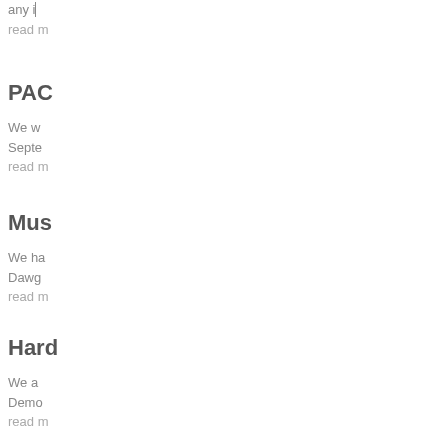any i... read m...
PAC
We w... Septe... read m...
Mus
We ha... Dawg... read m...
Hard
We a... Demo... read m...
New
After... read m...